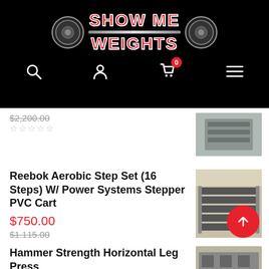Show Me Weights - navigation header with logo, search, account, cart (0), menu icons
$2,200.00 (strikethrough), star rating (empty)
Reebok Aerobic Step Set (16 Steps) W/ Power Systems Stepper PVC Cart — $750.00, $1,115.00 (strikethrough), star rating (empty)
Hammer Strength Horizontal Leg Press — $1,750.00, $2,800.00 (strikethrough)